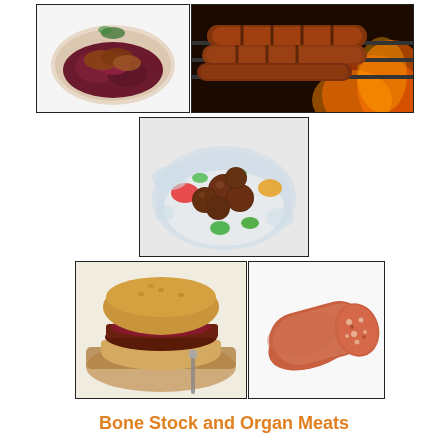[Figure (photo): Plate of duck or meat with red cabbage on an oval white dish]
[Figure (photo): Grilled sausages on a barbecue grill with flames in background]
[Figure (photo): Meatballs served in a glass bowl with colorful vegetables and garnish]
[Figure (photo): A burger or meat sandwich on a cutting board with vegetables]
[Figure (photo): A log/roll of salami or summer sausage on white background]
Bone Stock and Organ Meats